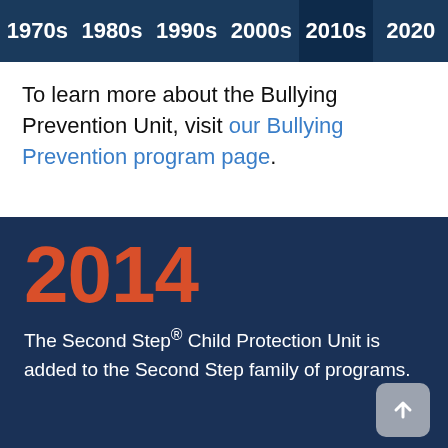1970s  1980s  1990s  2000s  2010s  2020
To learn more about the Bullying Prevention Unit, visit our Bullying Prevention program page.
2014
The Second Step® Child Protection Unit is added to the Second Step family of programs.